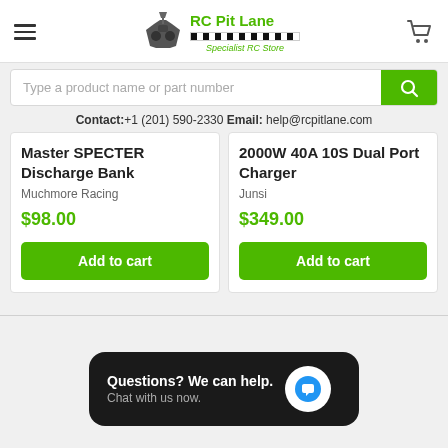[Figure (logo): RC Pit Lane logo with RC car controller icon, checkered pattern, and 'Specialist RC Store' tagline in green]
Type a product name or part number
Contact:+1 (201) 590-2330 Email: help@rcpitlane.com
Master SPECTER Discharge Bank
Muchmore Racing
$98.00
2000W 40A 10S Dual Port Charger
Junsi
$349.00
[Figure (infographic): Chat widget: 'Questions? We can help. Chat with us now.' with blue chat bubble icon on dark background]